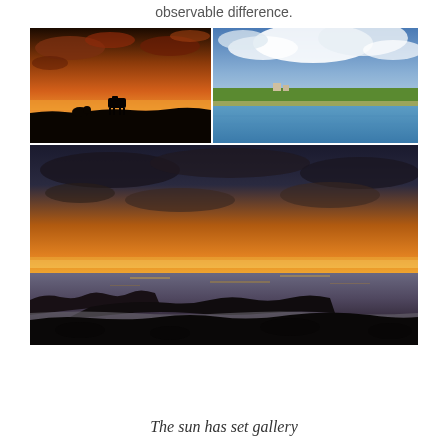observable difference.
[Figure (photo): Three landscape photographs: top-left shows a sunset silhouette of a cow and sheep on a hilltop with dramatic orange sky; top-right shows a coastal scene with green land, water, and blue cloudy sky; bottom shows a wide sunset over rocky coastline with orange glow on the horizon.]
The sun has set gallery